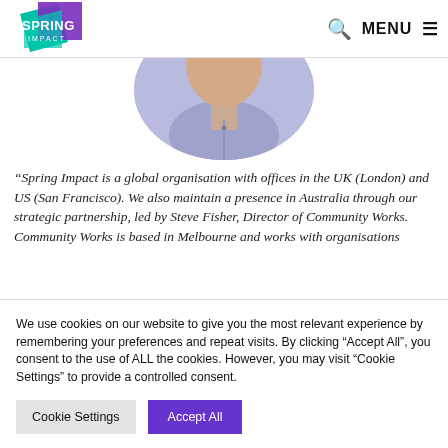Spring Impact — MENU
[Figure (photo): Circular cropped profile photo showing person in light purple/lavender shirt, partially visible from shoulders up]
“Spring Impact is a global organisation with offices in the UK (London) and US (San Francisco). We also maintain a presence in Australia through our strategic partnership, led by Steve Fisher, Director of Community Works. Community Works is based in Melbourne and works with organisations
We use cookies on our website to give you the most relevant experience by remembering your preferences and repeat visits. By clicking “Accept All”, you consent to the use of ALL the cookies. However, you may visit “Cookie Settings” to provide a controlled consent.